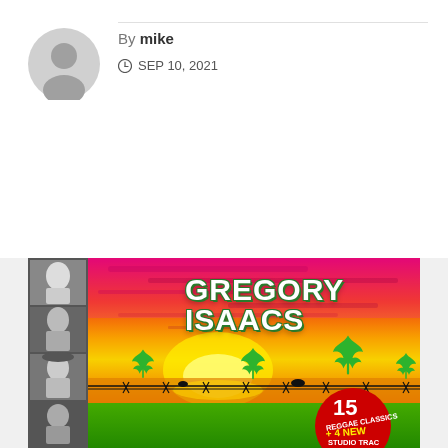By mike
SEP 10, 2021
[Figure (photo): Gregory Isaacs album cover featuring sunset background with barbed wire, cannabis leaf graphics, four black and white portrait photos of the artist on the left strip, and red badge reading '15 REGGAE CLASSICS + 4 NEW STUDIO TRACKS']